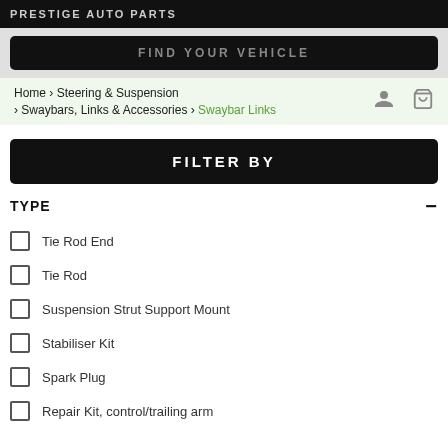PRESTIGE AUTO PARTS
FIND YOUR VEHICLE
Home › Steering & Suspension › Swaybars, Links & Accessories › Swaybar Links
FILTER BY
TYPE
Tie Rod End
Tie Rod
Suspension Strut Support Mount
Stabiliser Kit
Spark Plug
Repair Kit, control/trailing arm